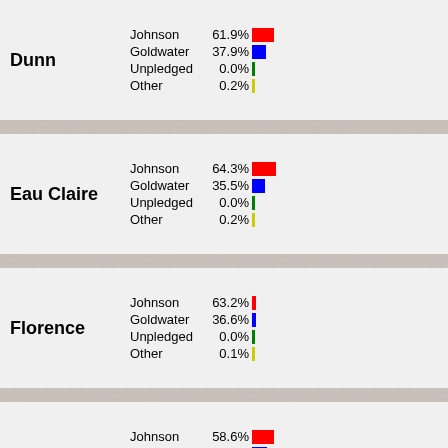[Figure (bar-chart): Dunn]
[Figure (bar-chart): Eau Claire]
[Figure (bar-chart): Florence]
[Figure (bar-chart): Fond du Lac]